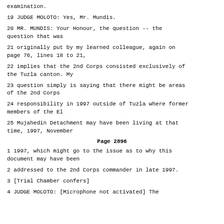examination.
19 JUDGE MOLOTO: Yes, Mr. Mundis.
20 MR. MUNDIS: Your Honour, the question -- the question that was
21 originally put by my learned colleague, again on page 76, lines 18 to 21,
22 implies that the 2nd Corps consisted exclusively of the Tuzla canton. My
23 question simply is saying that there might be areas of the 2nd Corps
24 responsibility in 1997 outside of Tuzla where former members of the El
25 Mujahedin Detachment may have been living at that time, 1997, November
Page 2896
1 1997, which might go to the issue as to why this document may have been
2 addressed to the 2nd Corps commander in late 1997.
3 [Trial Chamber confers]
4 JUDGE MOLOTO: [Microphone not activated] The